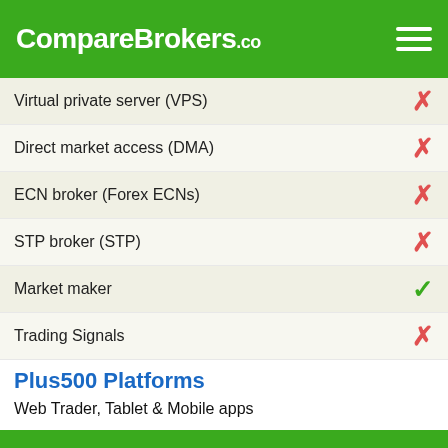CompareBrokers.co
| Feature | Available |
| --- | --- |
| Virtual private server (VPS) | ✗ |
| Direct market access (DMA) | ✗ |
| ECN broker (Forex ECNs) | ✗ |
| STP broker (STP) | ✗ |
| Market maker | ✓ |
| Trading Signals | ✗ |
Plus500 Platforms
Web Trader, Tablet & Mobile apps
Plus500 Languages
English, French, Italian, Spanish, Portuguese, German, Dutch, Polish, Arabic, Hebrew, Danish, Norwegian, Czech, Slovak, Bulgarian and Chinese